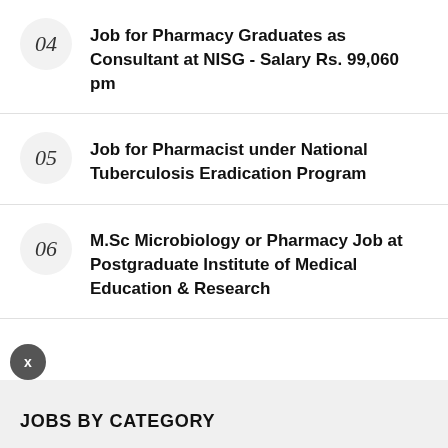04 Job for Pharmacy Graduates as Consultant at NISG - Salary Rs. 99,060 pm
05 Job for Pharmacist under National Tuberculosis Eradication Program
06 M.Sc Microbiology or Pharmacy Job at Postgraduate Institute of Medical Education & Research
JOBS BY CATEGORY